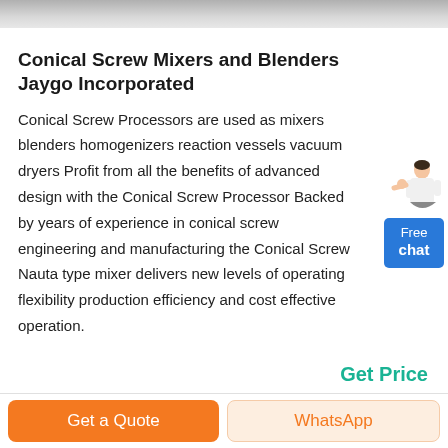[Figure (photo): Top portion of an image, partially visible, showing a gray gradient bar representing a cropped product or machine image.]
Conical Screw Mixers and Blenders Jaygo Incorporated
Conical Screw Processors are used as mixers blenders homogenizers reaction vessels vacuum dryers Profit from all the benefits of advanced design with the Conical Screw Processor Backed by years of experience in conical screw engineering and manufacturing the Conical Screw Nauta type mixer delivers new levels of operating flexibility production efficiency and cost effective operation.
[Figure (illustration): A small illustration of a person (woman in business attire) pointing, next to a blue Free chat button widget.]
Get Price
Get a Quote
WhatsApp